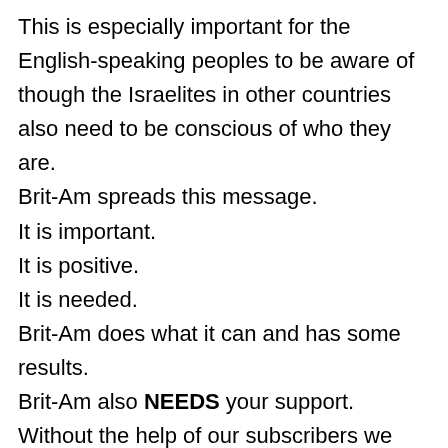This is especially important for the English-speaking peoples to be aware of though the Israelites in other countries also need to be conscious of who they are.
Brit-Am spreads this message.
It is important.
It is positive.
It is needed.
Brit-Am does what it can and has some results.
Brit-Am also NEEDS your support.
Without the help of our subscribers we cannot function.
They who can help are asked to do so.